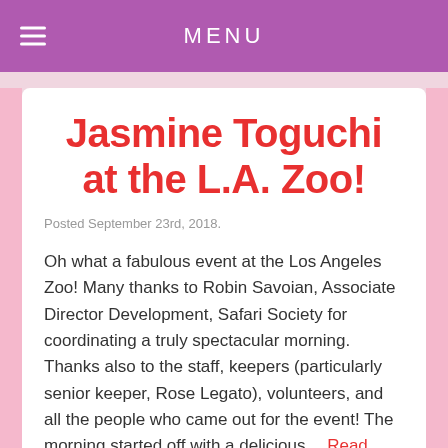MENU
Jasmine Toguchi at the L.A. Zoo!
Posted September 23rd, 2018.
Oh what a fabulous event at the Los Angeles Zoo! Many thanks to Robin Savoian, Associate Director Development, Safari Society for coordinating a truly spectacular morning. Thanks also to the staff, keepers (particularly senior keeper, Rose Legato), volunteers, and all the people who came out for the event! The morning started off with a delicious… Read